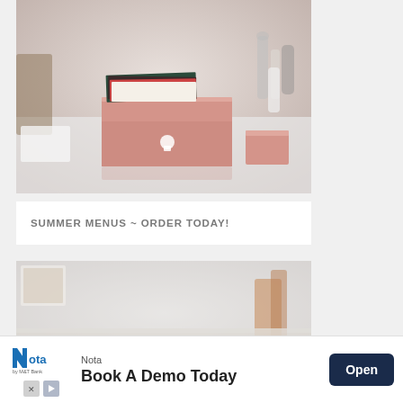[Figure (photo): A pink/rose-colored recipe card box with cards sticking out the top, sitting on a white countertop. Kitchen items visible in background including bottles and a pepper grinder.]
SUMMER MENUS ~ ORDER TODAY!
[Figure (photo): A kitchen countertop scene with blurred background, partial view of cooking tools or a phone/tablet device visible at bottom of frame.]
[Figure (other): Advertisement banner: Nota by M&T Bank logo, text 'Nota' and 'Book A Demo Today', with an 'Open' button in dark navy blue.]